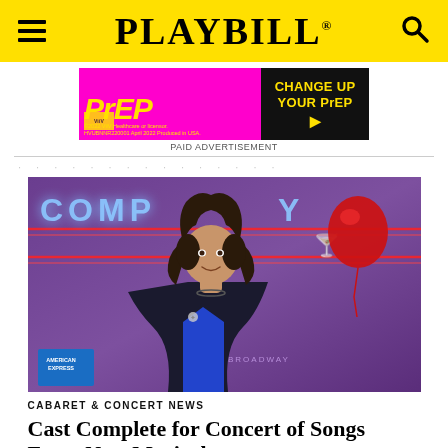PLAYBILL
[Figure (photo): Advertisement for PrEP medication by ViiV Healthcare, with pink/magenta background on left showing stylized PrEP logo in yellow, and black right panel reading CHANGE UP YOUR PrEP with yellow text. Caption: PAID ADVERTISEMENT.]
PAID ADVERTISEMENT
[Figure (photo): A woman with curly dark hair wearing a black blazer over blue top, standing in front of purple background with neon COMPANY Broadway sign and red balloon. American Express logo visible in lower left corner.]
CABARET & CONCERT NEWS
Cast Complete for Concert of Songs From New Musical